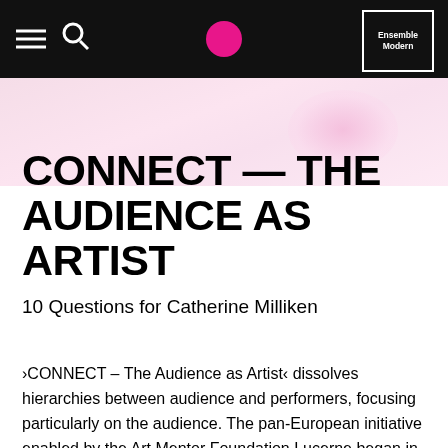ENSEMBLE MODERN
CONNECT — THE AUDIENCE AS ARTIST
10 Questions for Catherine Milliken
›CONNECT – The Audience as Artist‹ dissolves hierarchies between audience and performers, focusing particularly on the audience. The pan-European initiative enabled by the Art Mentor Foundation Lucerne began in 2016 as a cooperation between four leading contemporary music ensembles – Ensemble Modern, London Sinfonietta, Asko|Schönberg and